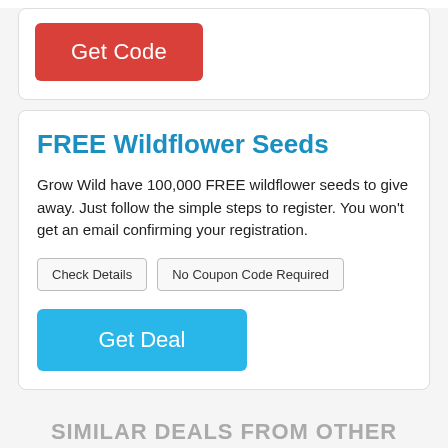[Figure (screenshot): Red 'Get Code' button on white card (partial top)]
FREE Wildflower Seeds
Grow Wild have 100,000 FREE wildflower seeds to give away. Just follow the simple steps to register. You won't get an email confirming your registration.
Check Details | No Coupon Code Required
[Figure (screenshot): Blue 'Get Deal' button]
SIMILAR DEALS FROM OTHER STORES